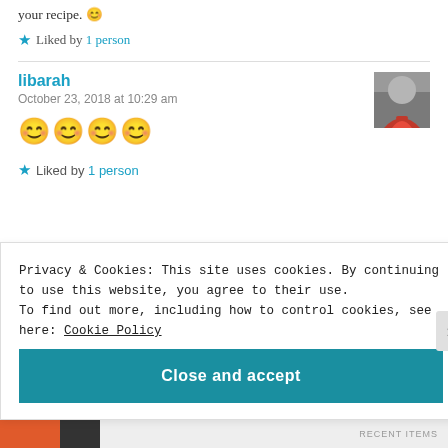your recipe. 😊
★ Liked by 1 person
libarah
October 23, 2018 at 10:29 am
😊😊😊😊
★ Liked by 1 person
Privacy & Cookies: This site uses cookies. By continuing to use this website, you agree to their use.
To find out more, including how to control cookies, see here: Cookie Policy
Close and accept